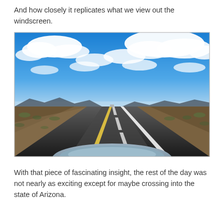And how closely it replicates what we view out the windscreen.
[Figure (photo): View from inside a car looking down a straight desert highway stretching to the horizon, with vast blue sky and white clouds above, desert scrubland and distant hills on both sides, and the car hood visible at the bottom of the frame.]
With that piece of fascinating insight, the rest of the day was not nearly as exciting except for maybe crossing into the state of Arizona.